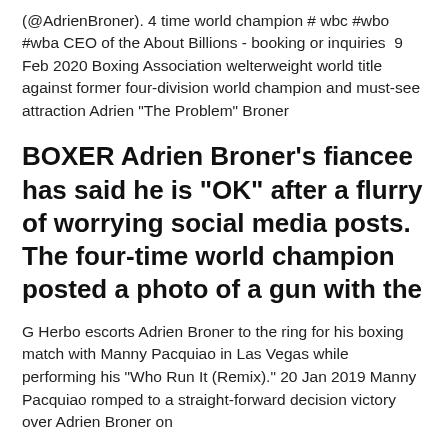(@AdrienBroner). 4 time world champion # wbc #wbo #wba CEO of the About Billions - booking or inquiries  9 Feb 2020 Boxing Association welterweight world title against former four-division world champion and must-see attraction Adrien "The Problem" Broner
BOXER Adrien Broner's fiancee has said he is "OK" after a flurry of worrying social media posts. The four-time world champion posted a photo of a gun with the
G Herbo escorts Adrien Broner to the ring for his boxing match with Manny Pacquiao in Las Vegas while performing his "Who Run It (Remix)." 20 Jan 2019 Manny Pacquiao romped to a straight-forward decision victory over Adrien Broner on Saturday. Former world champion Broner is...